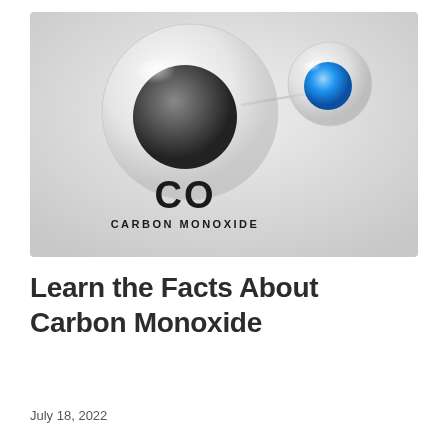[Figure (illustration): Scientific illustration of CO (carbon monoxide) molecule. A large transparent glass sphere with a dark gray inner sphere (carbon atom) connected via a thin line to a smaller transparent sphere with a blue inner sphere (oxygen atom). Below the spheres, bold text reads 'CO' and beneath that 'CARBON MONOXIDE'. Background is a light gray gradient.]
Learn the Facts About Carbon Monoxide
July 18, 2022